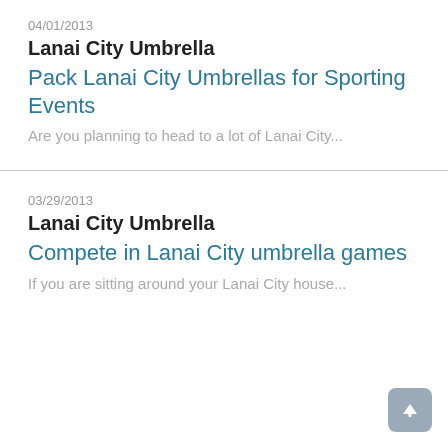04/01/2013
Lanai City Umbrella
Pack Lanai City Umbrellas for Sporting Events
Are you planning to head to a lot of Lanai City...
03/29/2013
Lanai City Umbrella
Compete in Lanai City umbrella games
If you are sitting around your Lanai City house...